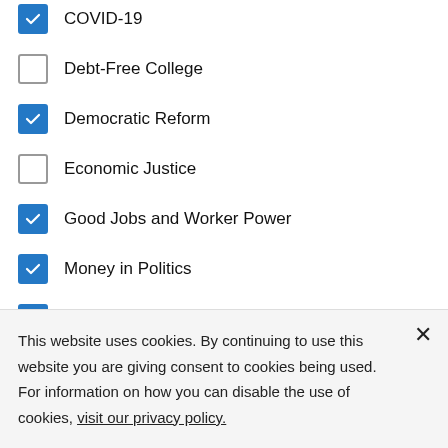COVID-19 (checked)
Debt-Free College (unchecked)
Democratic Reform (checked)
Economic Justice (unchecked)
Good Jobs and Worker Power (checked)
Money in Politics (checked)
Racial Wealth Gap (checked)
Regulation & Financial Reform (checked)
Revenue, Taxes and Budget (unchecked, partially visible)
This website uses cookies. By continuing to use this website you are giving consent to cookies being used. For information on how you can disable the use of cookies, visit our privacy policy.